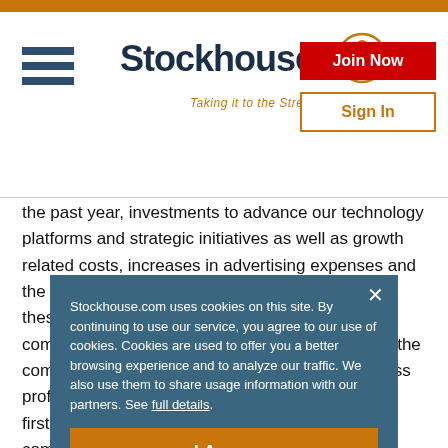Stockhouse — Taking it to the Street.
the past year, investments to advance our technology platforms and strategic initiatives as well as growth related costs, increases in advertising expenses and the consolidation of Edmunds. Partially offsetting these items was a reduction in share-based compensation, which largely reflected changes in the company's share price. SG&A as a percent of gross profit was 75.0%, versus 59.9% in the prior year's first quarter driven by the expenses noted above, combined wi...
Ca...
Stockhouse.com uses cookies on this site. By continuing to use our service, you agree to our use of cookies. Cookies are used to offer you a better browsing experience and to analyze our traffic. We also use them to share usage information with our partners. See full details.
I Agree